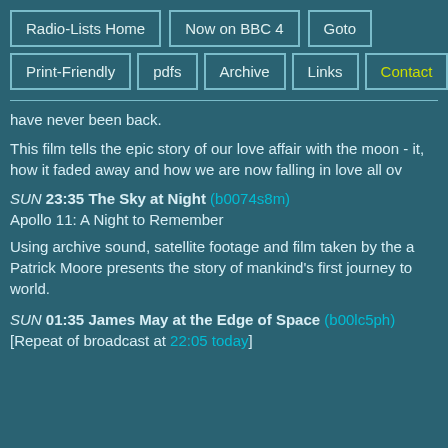Radio-Lists Home | Now on BBC 4 | Goto | Print-Friendly | pdfs | Archive | Links | Contact
have never been back.
This film tells the epic story of our love affair with the moon - it, how it faded away and how we are now falling in love all ov
SUN 23:35 The Sky at Night (b0074s8m)
Apollo 11: A Night to Remember
Using archive sound, satellite footage and film taken by the a Patrick Moore presents the story of mankind's first journey to world.
SUN 01:35 James May at the Edge of Space (b00lc5ph)
[Repeat of broadcast at 22:05 today]